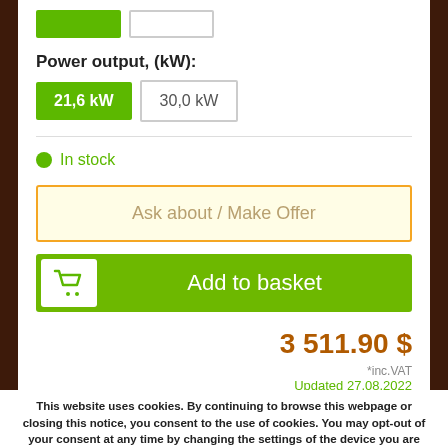Power output, (kW):
21,6 kW
30,0 kW
In stock
Ask about / Make Offer
Add to basket
3 511.90 $
*inc.VAT
Updated 27.08.2022
This website uses cookies. By continuing to browse this webpage or closing this notice, you consent to the use of cookies. You may opt-out of your consent at any time by changing the settings of the device you are using and deleting your saved cookies. Have a look at our cookie policy  here.
Close